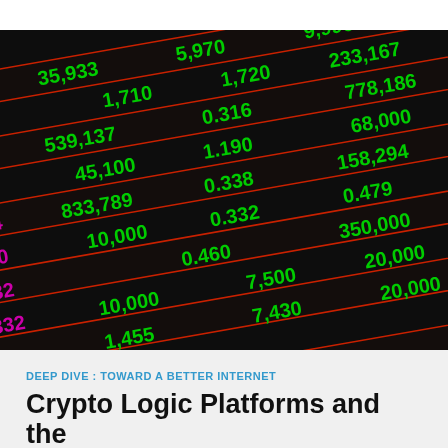[Figure (photo): Close-up photograph of a stock market ticker board displaying numbers in green and magenta/pink on a dark background, with diagonal red stripe lines separating rows. Numbers visible include: 2,400; 5,970; 35,933; 5,970; 539,137; 1.720; 1.710; 9,996; 233,167; 1.720; 45,100; 0.316; 0.314; 778,186; 0.314; 1.190; 1.180; 68,000; 833,789; 0.338; 0.332; 158,294; 1.190; 10,000; 0.332; 0.460; 0.479; 350,000; 10,000; 7,500; 7,430; 20,000; among others.]
DEEP DIVE : TOWARD A BETTER INTERNET
Crypto Logic Platforms and the Continuing Tale of Security...